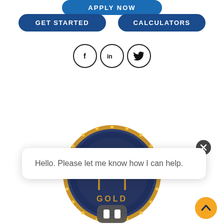[Figure (screenshot): A partially visible blue rounded button labeled 'APPLY NOW' at the top center of the page]
[Figure (screenshot): Two blue rounded buttons side by side: 'GET STARTED' on the left and 'CALCULATORS' on the right]
[Figure (screenshot): Three social media icons in circles: Facebook (f), LinkedIn (in), and Twitter (bird)]
[Figure (illustration): A circular gold and dark navy badge with a house/roof icon and 'GOLD' text at the bottom, with a pause button overlay at the bottom center]
[Figure (screenshot): A chat bubble popup saying 'Hello. Please let me know how I can help.' with a close (x) button in the top right corner]
[Figure (screenshot): An orange circular scroll-to-top button with an upward arrow chevron, bottom right corner]